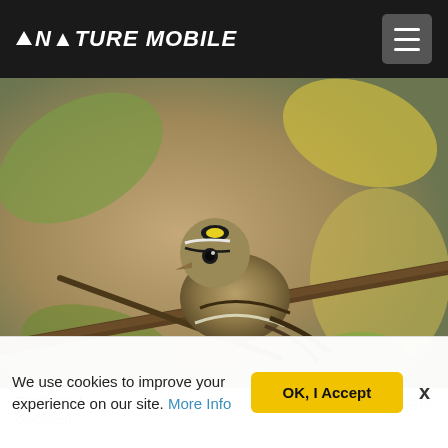NATURE MOBILE
[Figure (photo): A Goldcrest bird perched on a branch among autumn leaves. The small bird has distinctive yellow stripe on its head with black borders, and brownish-olive plumage. The background features blurred green and yellow autumn leaves.]
Birdfriend
Oct 31, 2018
Goldcrest
We use cookies to improve your experience on our site. More Info
OK, I Accept
x